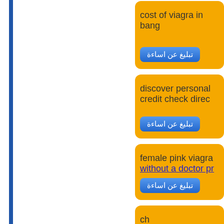cost of viagra in bang...
تبليغ عن اساءة
discover personal... credit check direc...
تبليغ عن اساءة
female pink viagra without a doctor pr...
تبليغ عن اساءة
ch... generic viagra us nmhz...
تبليغ عن اساءة